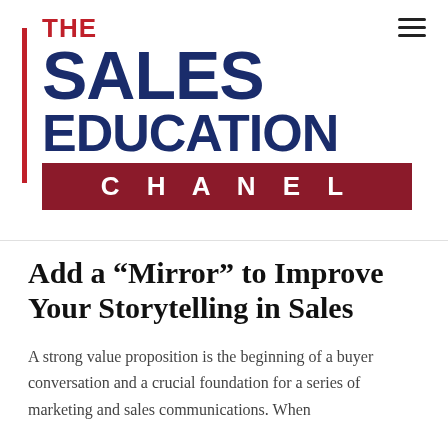[Figure (logo): The Sales Education Channel logo with red vertical bar, bold navy blue stacked text 'THE SALES EDUCATION' and a dark red banner with white spaced text 'CHANEL']
Add a “Mirror” to Improve Your Storytelling in Sales
A strong value proposition is the beginning of a buyer conversation and a crucial foundation for a series of marketing and sales communications. When